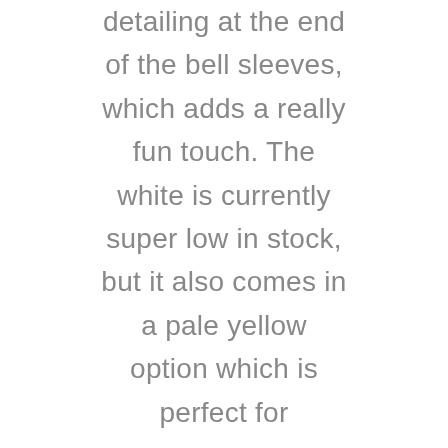detailing at the end of the bell sleeves, which adds a really fun touch. The white is currently super low in stock, but it also comes in a pale yellow option which is perfect for summer.

I paired it with my